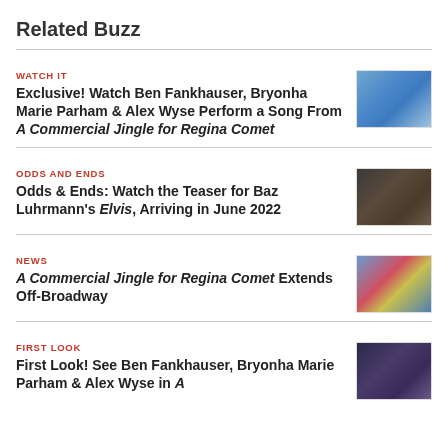Related Buzz
WATCH IT
Exclusive! Watch Ben Fankhauser, Bryonha Marie Parham & Alex Wyse Perform a Song From A Commercial Jingle for Regina Comet
ODDS AND ENDS
Odds & Ends: Watch the Teaser for Baz Luhrmann's Elvis, Arriving in June 2022
NEWS
A Commercial Jingle for Regina Comet Extends Off-Broadway
FIRST LOOK
First Look! See Ben Fankhauser, Bryonha Marie Parham & Alex Wyse in A...